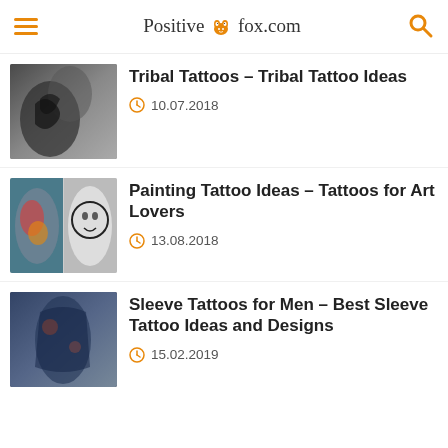Positivefox.com
[Figure (photo): Tribal tattoo on a person's shoulder/arm]
Tribal Tattoos – Tribal Tattoo Ideas
10.07.2018
[Figure (photo): Two arms with painting-style tattoos — colorful face on left, minimalist face outline on right]
Painting Tattoo Ideas – Tattoos for Art Lovers
13.08.2018
[Figure (photo): Arm with detailed sleeve tattoo in dark blue/grey tones]
Sleeve Tattoos for Men – Best Sleeve Tattoo Ideas and Designs
15.02.2019